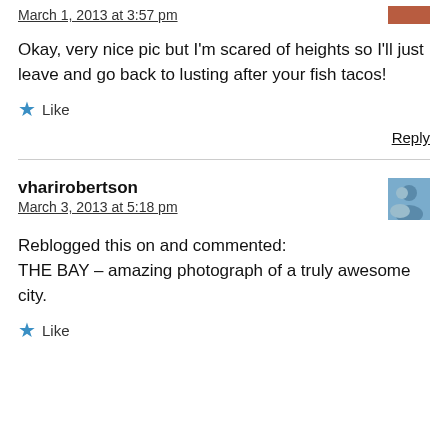March 1, 2013 at 3:57 pm
Okay, very nice pic but I'm scared of heights so I'll just leave and go back to lusting after your fish tacos!
Like
Reply
vharirobertson
March 3, 2013 at 5:18 pm
Reblogged this on and commented:
THE BAY – amazing photograph of a truly awesome city.
Like